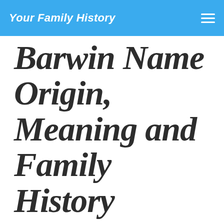Your Family History
Barwin Name Origin, Meaning and Family History
Discover how your Barwin ancestors earned their living and spread